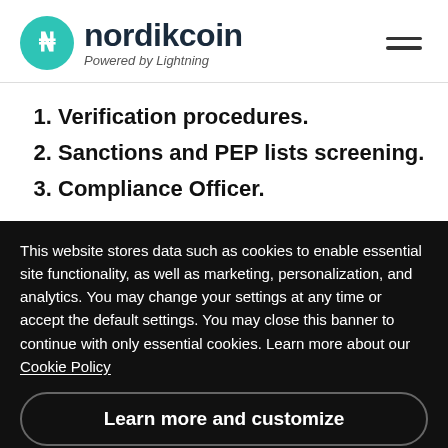[Figure (logo): Nordikcoin logo with teal circular icon containing N symbol, bold dark text 'nordikcoin', italic tagline 'Powered by Lightning']
1. Verification procedures.
2. Sanctions and PEP lists screening.
3. Compliance Officer.
This website stores data such as cookies to enable essential site functionality, as well as marketing, personalization, and analytics. You may change your settings at any time or accept the default settings. You may close this banner to continue with only essential cookies. Learn more about our Cookie Policy
Learn more and customize
Reject
Accept